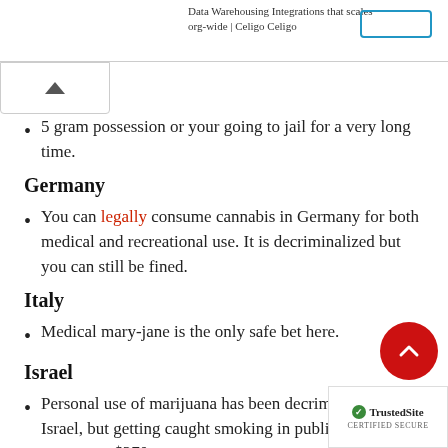Data Warehousing Integrations that scales org-wide | Celigo Celigo
5 gram possession or your going to jail for a very long time.
Germany
You can legally consume cannabis in Germany for both medical and recreational use. It is decriminalized but you can still be fined.
Italy
Medical mary-jane is the only safe bet here.
Israel
Personal use of marijuana has been decriminalized in Israel, but getting caught smoking in public may still cost you a $270
Jamaica